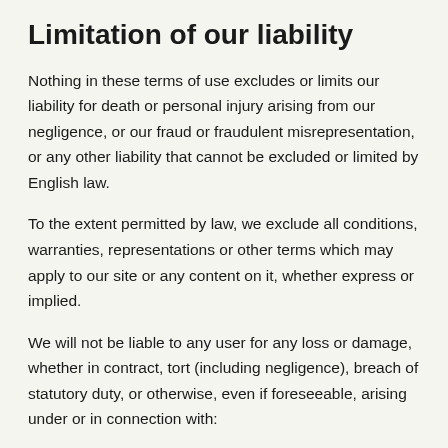Limitation of our liability
Nothing in these terms of use excludes or limits our liability for death or personal injury arising from our negligence, or our fraud or fraudulent misrepresentation, or any other liability that cannot be excluded or limited by English law.
To the extent permitted by law, we exclude all conditions, warranties, representations or other terms which may apply to our site or any content on it, whether express or implied.
We will not be liable to any user for any loss or damage, whether in contract, tort (including negligence), breach of statutory duty, or otherwise, even if foreseeable, arising under or in connection with: